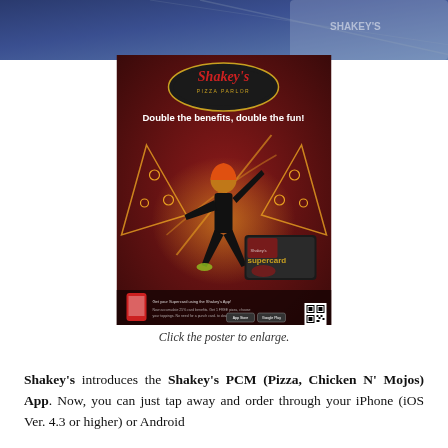[Figure (photo): Top cropped photo showing what appears to be a smartphone or tablet device with blue interface, partially visible at top of page.]
[Figure (photo): Shakey's Pizza Parlor promotional advertisement poster on dark red background. Shows Shakey's logo at top, text 'Double the benefits, double the fun!', a person in black outfit with glowing pizza slices, a Shakey's Supercard, and an app download QR code at bottom.]
Click the poster to enlarge.
Shakey's introduces the Shakey's PCM (Pizza, Chicken N' Mojos) App. Now, you can just tap away and order through your iPhone (iOS Ver. 4.3 or higher) or Android